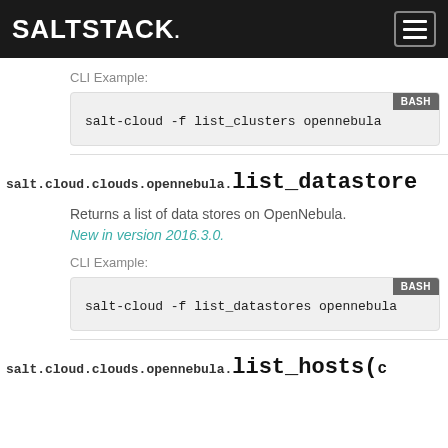SALTSTACK
CLI Example:
salt-cloud -f list_clusters opennebula
salt.cloud.clouds.opennebula. list_datastores(
Returns a list of data stores on OpenNebula.
New in version 2016.3.0.
CLI Example:
salt-cloud -f list_datastores opennebula
salt.cloud.clouds.opennebula. list_hosts(